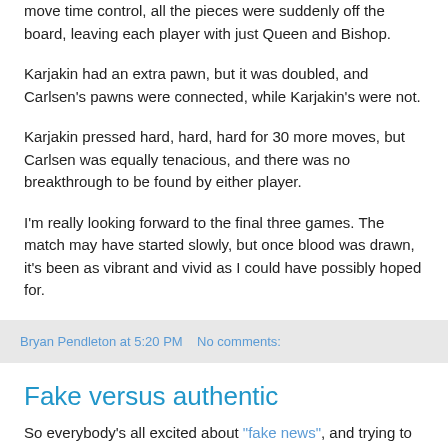move time control, all the pieces were suddenly off the board, leaving each player with just Queen and Bishop.
Karjakin had an extra pawn, but it was doubled, and Carlsen's pawns were connected, while Karjakin's were not.
Karjakin pressed hard, hard, hard for 30 more moves, but Carlsen was equally tenacious, and there was no breakthrough to be found by either player.
I'm really looking forward to the final three games. The match may have started slowly, but once blood was drawn, it's been as vibrant and vivid as I could have possibly hoped for.
Bryan Pendleton at 5:20 PM   No comments:
Fake versus authentic
So everybody's all excited about "fake news", and trying to figure out what it means.